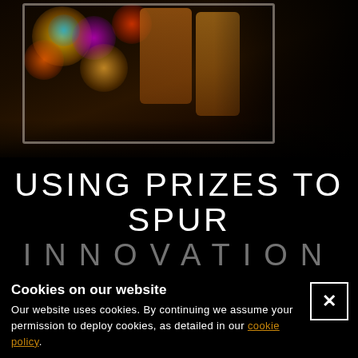[Figure (photo): Person reaching into a refrigerator filled with colorful bottles and lights, viewed from above and behind.]
USING PRIZES TO SPUR INNOVATION
Cookies on our website
Our website uses cookies. By continuing we assume your permission to deploy cookies, as detailed in our cookie policy.
Prizes have long been used as a way of stimulating